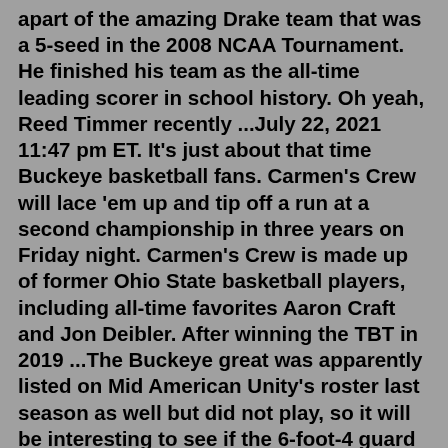apart of the amazing Drake team that was a 5-seed in the 2008 NCAA Tournament. He finished his team as the all-time leading scorer in school history. Oh yeah, Reed Timmer recently ...July 22, 2021 11:47 pm ET. It's just about that time Buckeye basketball fans. Carmen's Crew will lace 'em up and tip off a run at a second championship in three years on Friday night. Carmen's Crew is made up of former Ohio State basketball players, including all-time favorites Aaron Craft and Jon Deibler. After winning the TBT in 2019 ...The Buckeye great was apparently listed on Mid American Unity's roster last season as well but did not play, so it will be interesting to see if the 6-foot-4 guard will lace it up against his ...Jul 25, 2022 · Brents, who transferred from Iowa before the start of the 2021 season, started all 13 games for the Wildcats last year, totaling 49 tackles, 3 tackles for loss, and an interception. Apr 11, 2022 · Iowa guard Joe Toussaint (2) shoots the ball against Richmond Spiders forward Tyler Burton (3) in the second half during the first